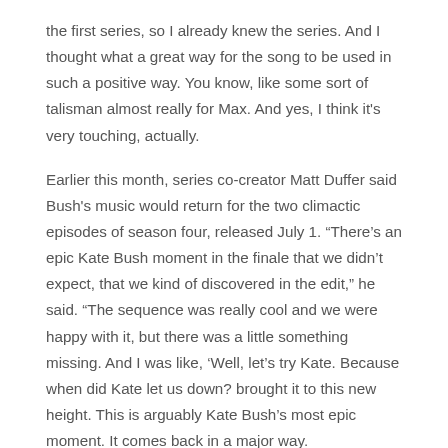the first series, so I already knew the series. And I thought what a great way for the song to be used in such a positive way. You know, like some sort of talisman almost really for Max. And yes, I think it's very touching, actually.
Earlier this month, series co-creator Matt Duffer said Bush's music would return for the two climactic episodes of season four, released July 1. “There’s an epic Kate Bush moment in the finale that we didn’t expect, that we kind of discovered in the edit,” he said. “The sequence was really cool and we were happy with it, but there was a little something missing. And I was like, ‘Well, let’s try Kate. Because when did Kate let us down? brought it to this new height. This is arguably Kate Bush’s most epic moment. It comes back in a major way.
A new trailer for the final two episodes of Stranger Things has been released, featuring a heart-pounding reworking of Running Up That Hill.